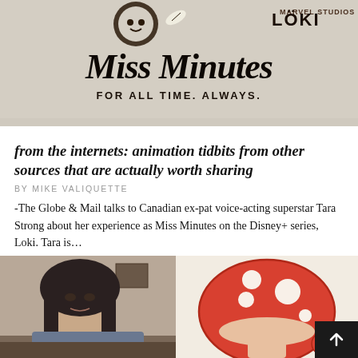[Figure (illustration): Miss Minutes Loki Marvel Studios branded illustration on beige/tan textured background. Shows Miss Minutes cartoon character logo at top, large script text 'Miss Minutes' in the middle, and 'FOR ALL TIME. ALWAYS.' tagline below.]
from the internets: animation tidbits from other sources that are actually worth sharing
BY MIKE VALIQUETTE
-The Globe & Mail talks to Canadian ex-pat voice-acting superstar Tara Strong about her experience as Miss Minutes on the Disney+ series, Loki. Tara is…
Leave a Comment
[Figure (photo): Photo of a woman with dark hair looking at camera, indoor setting]
[Figure (illustration): Cartoon illustration of a red and white mushroom character]